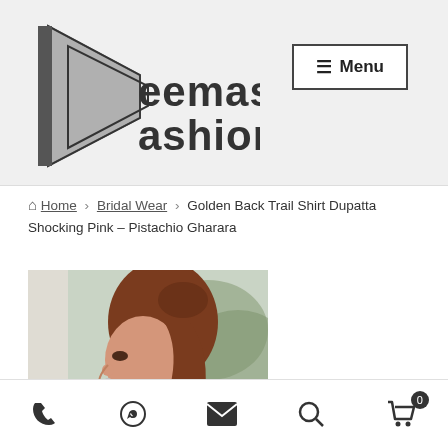[Figure (logo): Deemas Fashion logo with geometric play-button-like shape in grey/black, text reads 'Deemas Fashion']
≡ Menu
Home › Bridal Wear › Golden Back Trail Shirt Dupatta Shocking Pink – Pistachio Gharara
[Figure (photo): Photo of a woman with long auburn hair in a side profile view, wearing traditional South Asian bridal attire, outdoors background]
Phone | WhatsApp | Email | Search | Cart (0)